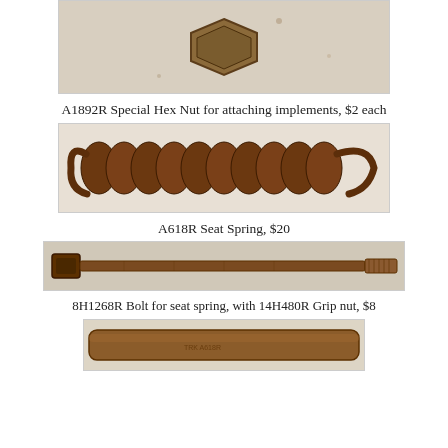[Figure (photo): Photograph of a rusty/aged special hex nut, a large hexagonal metal nut with weathered brown surface, placed on a light-colored surface.]
A1892R Special Hex Nut for attaching implements, $2 each
[Figure (photo): Photograph of a rusty coil/seat spring (A618R), elongated spiral spring lying flat, heavily rusted brown color.]
A618R Seat Spring, $20
[Figure (photo): Photograph of a long rusty bolt (8H1268R) with hex head on left and threaded end on right, heavily corroded brown, laying horizontally.]
8H1268R Bolt for seat spring, with 14H480R Grip nut, $8
[Figure (photo): Photograph of a cylindrical metal rod or tube, brown/rusty, lying horizontally, partially cut off at bottom of page.]